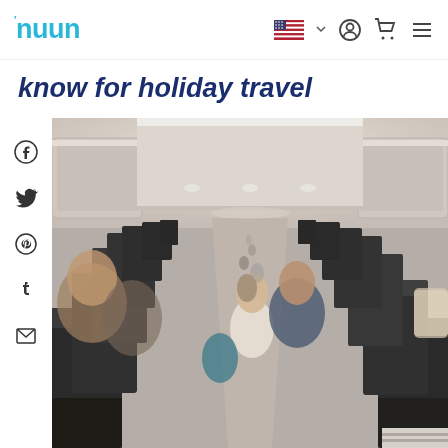nuun
know for holiday travel
[Figure (photo): Interior of a commercial airplane cabin viewed from the back, showing rows of seats with passengers boarding or seated, overhead bins, and aisle perspective looking toward the front of the plane.]